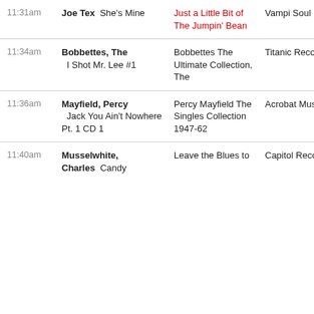| Time | Artist / Song | Album | Label |
| --- | --- | --- | --- |
| 11:31am | Joe Tex  She's Mine | Just a Little Bit of The Jumpin' Bean | Vampi Soul |
| 11:34am | Bobbettes, The  I Shot Mr. Lee #1 | Bobbettes The Ultimate Collection, The | Titanic Records |
| 11:36am | Mayfield, Percy  Jack You Ain't Nowhere Pt. 1 CD 1 | Percy Mayfield The Singles Collection 1947-62 | Acrobat Music |
| 11:40am | Musselwhite, Charles  Candy | Leave the Blues to | Capitol Records |